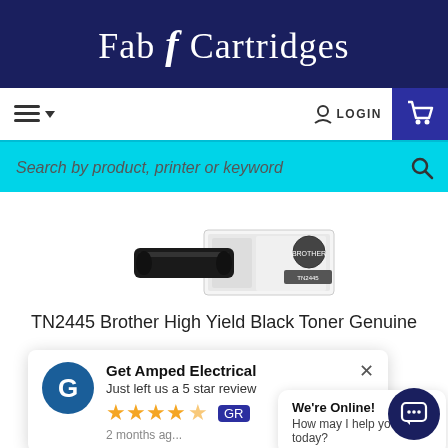Fab4Cartridges
[Figure (screenshot): Navigation bar with hamburger menu, LOGIN button, and cart icon]
[Figure (screenshot): Search bar with placeholder text 'Search by product, printer or keyword' and search icon]
[Figure (photo): Product image of TN2445 Brother High Yield Black Toner Genuine cartridge box]
TN2445 Brother High Yield Black Toner Genuine
[Figure (screenshot): Review popup for 'Get Amped Electrical' saying 'Just left us a 5 star review' with 4 gold stars and '2 months ago']
[Figure (screenshot): Chat bubble saying 'We're Online! How may I help you today?' with chat icon button]